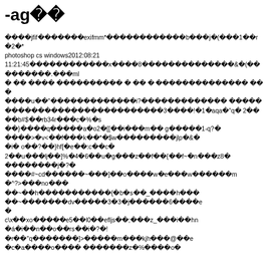-ag��
����jfif�������exifmm*������������b���jj(���1��r�2�* photoshop cs windows2012:08:21 11:21:45�����������dx����8��������������&�(���������.ml� � �� ���� ���������� � � �� � �������������� �� � ����u��"u������������i?������������� �����������������������������3����!0 1�aqa�"q� 2����b#$��b34r���c�%��s��}����dq�����a�o2�[[���i���m�� g�����1-q?�������>��dv<���f���k��*�$w����������jlp�&��i� o��?��}hf[��e��:c���c� 2��u���dlj��]%�4�6��u��dg����dz���f��{��f~�n���z8���������dj�?��n����#~cd�������~���]���o�����dw��e���dw�������dm��^?>�����dno������~���dh�����������{��b��s��_�����dh����~��������ddv������3�3��dj������6�����e� c\�x��dxo������e5���dl0���efljs��;����dz_�����i���dhn���á�i���n���o��drs���i�?�! ��r��"q�������]>����s���dm����dkjh���@���e���c��a�����o���� ��������dz�%�����o�